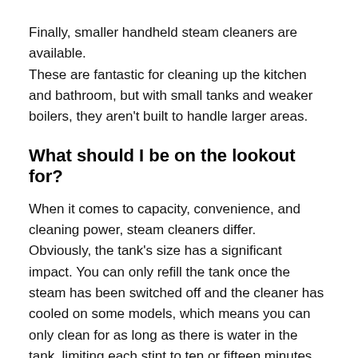Finally, smaller handheld steam cleaners are available.
These are fantastic for cleaning up the kitchen and bathroom, but with small tanks and weaker boilers, they aren't built to handle larger areas.
What should I be on the lookout for?
When it comes to capacity, convenience, and cleaning power, steam cleaners differ.
Obviously, the tank's size has a significant impact. You can only refill the tank once the steam has been switched off and the cleaner has cooled on some models, which means you can only clean for as long as there is water in the tank, limiting each stint to ten or fifteen minutes.